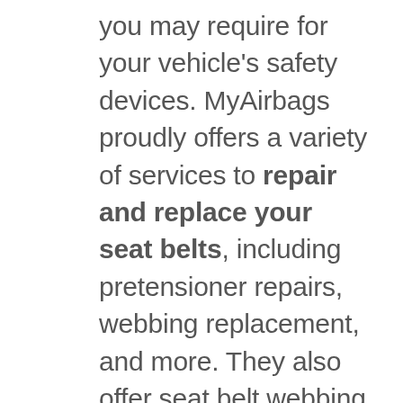you may require for your vehicle's safety devices. MyAirbags proudly offers a variety of services to repair and replace your seat belts, including pretensioner repairs, webbing replacement, and more. They also offer seat belt webbing replacements in custom colors, to add a unique touch to your vehicle's interior. With MyAirbags, you will save time and money in that they deliver high quality results within 24 hours and are a less expensive alternative than most expensive dealerships. Take the stress out of your vehicle's repairs, and entrust your safety in the hands of MyAirbags. For any questions or inquiries, do not hesitate to contact MyAirbags! Get your seat belt rebuilt today!